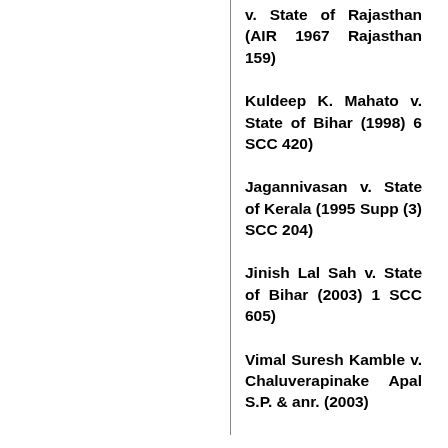v. State of Rajasthan (AIR 1967 Rajasthan 159)
Kuldeep K. Mahato v. State of Bihar (1998) 6 SCC 420)
Jagannivasan v. State of Kerala (1995 Supp (3) SCC 204)
Jinish Lal Sah v. State of Bihar (2003) 1 SCC 605)
Vimal Suresh Kamble v. Chaluverapinake Apal S.P. & anr. (2003)